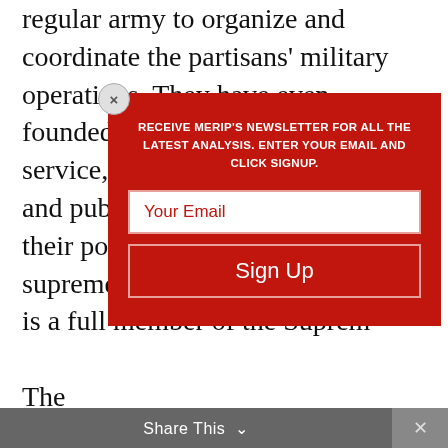regular army to organize and coordinate the partisans' military operations. They have even founded their own intelligence service, a public relations office and publications which serve as their political platform. Their supreme leader, Murteza Reza'iyeh, is a full member of the Supreme...
The pas... xpand. Parliam... t, entrust... y of 20 millions... group all civili... ight volunte... e partisa... e 200,000... n underg... o
[Figure (screenshot): Modal popup overlay with red background. Headline: RECEIVE MERIP'S NEWSLETTER FOR ALL THE LATEST ANALYSIS. ENTER YOUR EMAIL AND CLICK SIGNUP. Below: email input field and Sign Up button. Close X button in top-left corner of modal.]
Share This ∨       ×